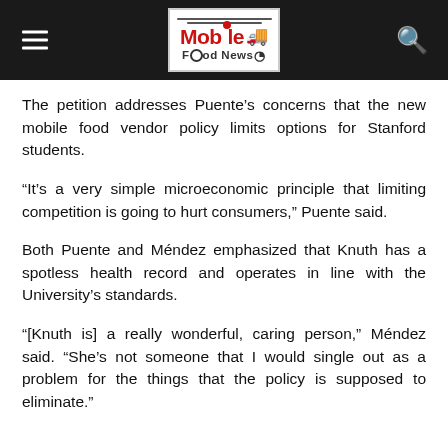Mobile Food News [logo]
The petition addresses Puente’s concerns that the new mobile food vendor policy limits options for Stanford students.
“It’s a very simple microeconomic principle that limiting competition is going to hurt consumers,” Puente said.
Both Puente and Méndez emphasized that Knuth has a spotless health record and operates in line with the University’s standards.
“[Knuth is] a really wonderful, caring person,” Méndez said. “She’s not someone that I would single out as a problem for the things that the policy is supposed to eliminate.”